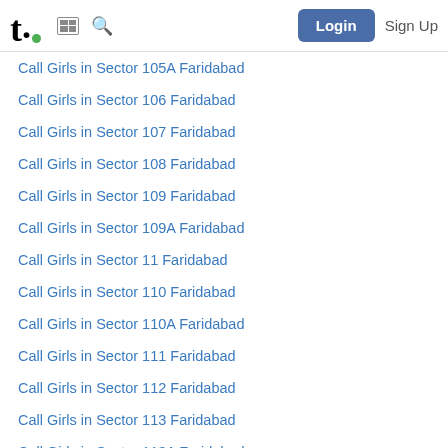t. [grid icon] [search icon]   Login   Sign Up
Call Girls in Sector 105A Faridabad
Call Girls in Sector 106 Faridabad
Call Girls in Sector 107 Faridabad
Call Girls in Sector 108 Faridabad
Call Girls in Sector 109 Faridabad
Call Girls in Sector 109A Faridabad
Call Girls in Sector 11 Faridabad
Call Girls in Sector 110 Faridabad
Call Girls in Sector 110A Faridabad
Call Girls in Sector 111 Faridabad
Call Girls in Sector 112 Faridabad
Call Girls in Sector 113 Faridabad
Call Girls in Sector 113A Faridabad
Call Girls in Sector 114 Faridabad
Call Girls in Sector 115 Faridabad